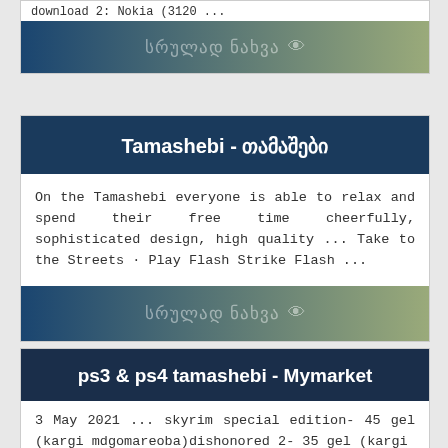download 2: Nokia (3120 ...
[Figure (other): Gradient bar with Georgian text 'სრულად ნახვა' and eye icon]
Tamashebi - თამაშები
On the Tamashebi everyone is able to relax and spend their free time cheerfully, sophisticated design, high quality ... Take to the Streets · Play Flash Strike Flash ...
[Figure (other): Gradient bar with Georgian text 'სრულად ნახვა' and eye icon]
ps3 & ps4 tamashebi - Mymarket
3 May 2021 ... skyrim special edition- 45 gel (kargi mdgomareoba)dishonored 2- 35 gel (kargi